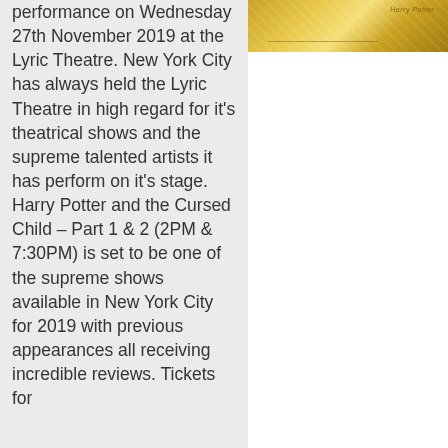[Figure (illustration): Gold textured background with decorative Harry Potter Cursed Child style graphic, partial view at top right]
performance on Wednesday 27th November 2019 at the Lyric Theatre. New York City has always held the Lyric Theatre in high regard for it's theatrical shows and the supreme talented artists it has perform on it's stage. Harry Potter and the Cursed Child – Part 1 & 2 (2PM & 7:30PM) is set to be one of the supreme shows available in New York City for 2019 with previous appearances all receiving incredible reviews. Tickets for